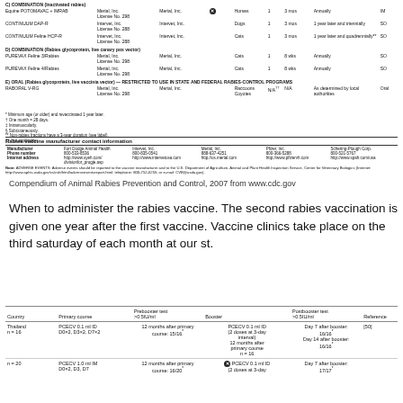| Product name | Produced by | Marketed by | For use in | Doses | Min. age | Booster recommended | Route |
| --- | --- | --- | --- | --- | --- | --- | --- |
| C) COMBINATION (Inactivated rabies) |  |  |  |  |  |  |  |
| Equine POTOMAVAC + IMRAB | Merial, Inc.
License No. 298 | Merial, Inc. | Horses | 1 | 3 mos | Annually | IM |
| CONTINUUM DAP-R | Intervet, Inc.
License No. 288 | Intervet, Inc. | Dogs | 1 | 3 mos | 1 year later and triennially | SO |
| CONTINUUM Feline HCP-R | Intervet, Inc.
License No. 288 | Intervet, Inc. | Cats | 1 | 3 mos | 1 year later and quadrennially** | SO |
| D) COMBINATION (Rabies glycoprotein, live canary pox vector) |  |  |  |  |  |  |  |
| PUREVAX Feline 3/Rabies | Merial, Inc.
License No. 298 | Merial, Inc. | Cats | 1 | 8 wks | Annually | SO |
| PUREVAX Feline 4/Rabies | Merial, Inc.
License No. 298 | Merial, Inc. | Cats | 1 | 8 wks | Annually | SO |
| E) ORAL (Rabies glycoprotein, live vaccinia vector) — RESTRICTED TO USE IN STATE AND FEDERAL RABIES-CONTROL PROGRAMS |  |  |  |  |  |  |  |
| RABORAL V-RG | Merial, Inc.
License No. 298 | Merial, Inc. | Raccoons
Coyotes | N/A†† | N/A | As determined by local authorities | Oral |
* Minimum age (or older) and revaccinated 1 year later.
† One month = 28 days.
‡ Intramuscularly.
§ Subcutaneously.
** Non-rabies fractions have a 3-year duration (see label).
†† Not applicable.
Rabies vaccine manufacturer contact information
| Manufacturer | Fort Dodge Animal Health | Intervet, Inc. | Merial, Inc. | Pfizer, Inc. | Schering-Plough Corp. |
| --- | --- | --- | --- | --- | --- |
| Phone number | 800-533-8536 | 800-835-0541 | 888-637-4251 | 800-366-5288 | 800-521-5767 |
| Internet address | http://www.syeh.com/divisionfor_progje.asp | http://www.intervetusa.com | http://us.merial.com | http://www.pfizervh.com | http://www.spah.com/usa |
Note: ADVERSE EVENTS: Adverse events should be reported to the vaccine manufacturer and to the U.S. Department of Agriculture, Animal and Plant Health Inspection Service, Center for Veterinary Biologics (Internet: http://www.aphis.usda.gov/vs/cvb/html/adverseeventsreport.html; telephone: 800-752-6255; or e-mail: CVB@usda.gov).
Compendium of Animal Rabies Prevention and Control, 2007 from www.cdc.gov
When to administer the rabies vaccine. The second rabies vaccination is given one year after the first vaccine. Vaccine clinics take place on the third saturday of each month at our st.
| Country | Primary course | Prebooster test >0.5IU/ml | Booster | Postbooster test >0.5IU/ml | Reference |
| --- | --- | --- | --- | --- | --- |
| Thailand
n=16 | PCECV 0.1 ml ID
D0×2, D3×2, D7×2 | 12 months after primary course: 15/16* | PCECV 0.1 ml ID
(2 doses at 3-day interval)
12 months after primary course
n=16 | Day 7 after booster:
16/16*
Day 14 after booster:
16/16* | [50] |
| n=20 | PCECV 1.0 ml IM
D0×2, D3, D7 | 12 months after primary course: 16/20* | PCECV 0.1 ml ID
(2 doses at 3-day | Day 7 after booster:
17/17* |  |